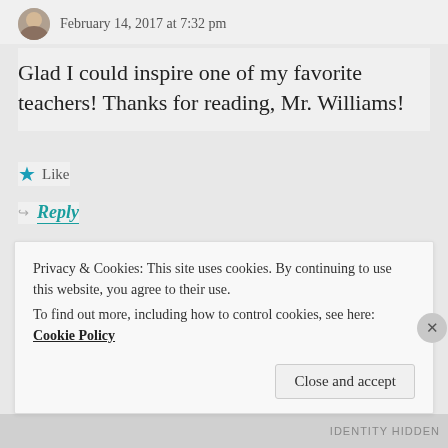February 14, 2017 at 7:32 pm
Glad I could inspire one of my favorite teachers! Thanks for reading, Mr. Williams!
Like
Reply
REVITELLECT
February 15, 2017 at 8:02 pm
Privacy & Cookies: This site uses cookies. By continuing to use this website, you agree to their use.
To find out more, including how to control cookies, see here: Cookie Policy
Close and accept